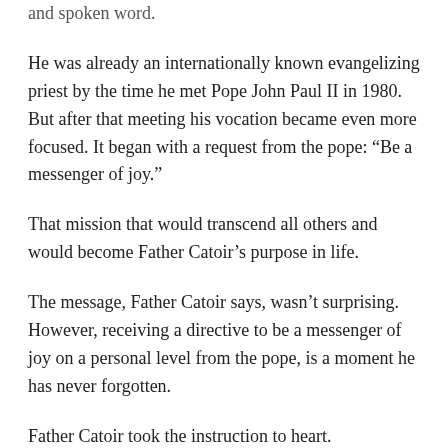and spoken word.
He was already an internationally known evangelizing priest by the time he met Pope John Paul II in 1980. But after that meeting his vocation became even more focused. It began with a request from the pope: “Be a messenger of joy.”
That mission that would transcend all others and would become Father Catoir’s purpose in life.
The message, Father Catoir says, wasn’t surprising. However, receiving a directive to be a messenger of joy on a personal level from the pope, is a moment he has never forgotten.
Father Catoir took the instruction to heart.